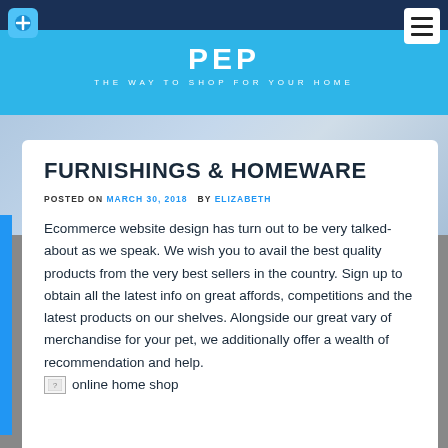PEP — THE WAY TO SHOP FOR YOUR HOME
[Figure (screenshot): Background photo of a bright interior/store space]
FURNISHINGS & HOMEWARE
POSTED ON MARCH 30, 2018  BY ELIZABETH
Ecommerce website design has turn out to be very talked-about as we speak. We wish you to avail the best quality products from the very best sellers in the country. Sign up to obtain all the latest info on great affords, competitions and the latest products on our shelves. Alongside our great vary of merchandise for your pet, we additionally offer a wealth of recommendation and help.
[Figure (illustration): Broken image placeholder with alt text: online home shop]